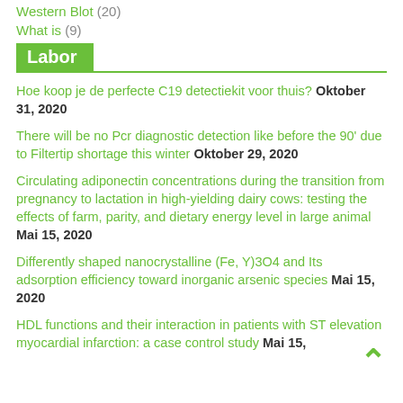Western Blot (20)
What is (9)
Labor
Hoe koop je de perfecte C19 detectiekit voor thuis? Oktober 31, 2020
There will be no Pcr diagnostic detection like before the 90' due to Filtertip shortage this winter Oktober 29, 2020
Circulating adiponectin concentrations during the transition from pregnancy to lactation in high-yielding dairy cows: testing the effects of farm, parity, and dietary energy level in large animal Mai 15, 2020
Differently shaped nanocrystalline (Fe, Y)3O4 and Its adsorption efficiency toward inorganic arsenic species Mai 15, 2020
HDL functions and their interaction in patients with ST elevation myocardial infarction: a case control study Mai 15,